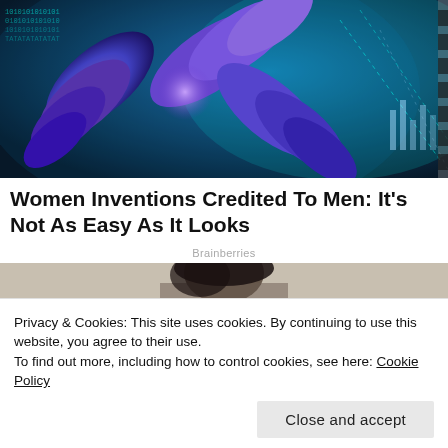[Figure (photo): Digital illustration of X-shaped chromosomes glowing in blue and purple, set against a dark background with binary code and DNA strands.]
Women Inventions Credited To Men: It's Not As Easy As It Looks
Brainberries
[Figure (photo): Partial photo of a person with dark hair, viewed from above, in a bright environment.]
Privacy & Cookies: This site uses cookies. By continuing to use this website, you agree to their use.
To find out more, including how to control cookies, see here: Cookie Policy
Close and accept
[Figure (photo): Partial bottom strip showing additional photo content below the cookie banner.]